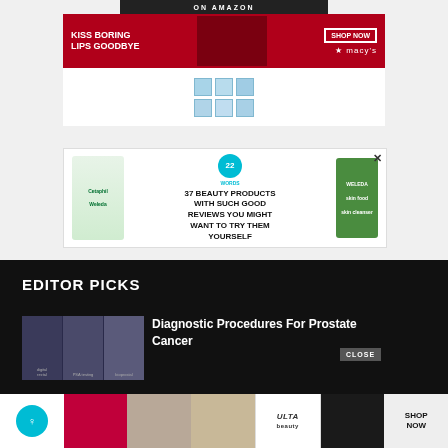[Figure (screenshot): Macy's advertisement banner with red background, woman with red lipstick, text 'KISS BORING LIPS GOODBYE', 'SHOP NOW' button and Macy's star logo]
[Figure (logo): Blue grid/mosaic logo icon]
[Figure (screenshot): Advertisement: '37 BEAUTY PRODUCTS WITH SUCH GOOD REVIEWS YOU MIGHT WANT TO TRY YOURSELF' with Cetaphil and Weleda products, badge showing '22 WORDS']
EDITOR PICKS
[Figure (photo): Thumbnail showing diagnostic procedures imagery with labels: digital rectal, PSA testing, biopsy/bioprostal]
Diagnostic Procedures For Prostate Cancer
[Figure (screenshot): Bottom advertisement strip showing beauty products, makeup, eyes, ULTA logo, and SHOP NOW button]